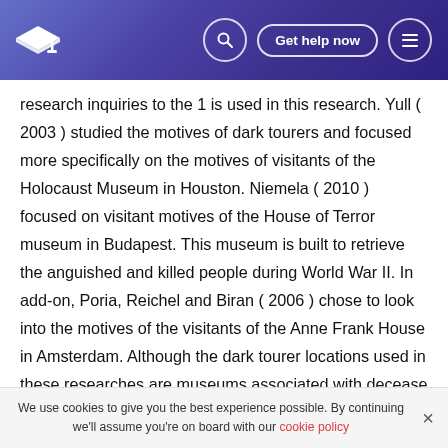Get help now
research inquiries to the 1 is used in this research. Yull ( 2003 ) studied the motives of dark tourers and focused more specifically on the motives of visitants of the Holocaust Museum in Houston. Niemela ( 2010 ) focused on visitant motives of the House of Terror museum in Budapest. This museum is built to retrieve the anguished and killed people during World War II. In add-on, Poria, Reichel and Biran ( 2006 ) chose to look into the motives of the visitants of the Anne Frank House in Amsterdam. Although the dark tourer locations used in these researches are museums associated with decease and agony and hence
We use cookies to give you the best experience possible. By continuing we'll assume you're on board with our cookie policy